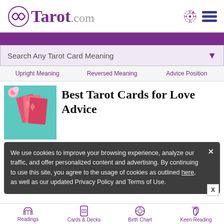Tarot.com
Search Any Tarot Card Meaning
Upright Meaning    Reversed Meaning    Advice Position
Best Tarot Cards for Love Advice
[Figure (photo): Pink tarot cards scattered on a teal surface with a pink flower]
We use cookies to improve your browsing experience, analyze our traffic, and offer personalized content and advertising. By continuing to use this site, you agree to the usage of cookies as outlined here, as well as our updated Privacy Policy and Terms of Use.
Get Answers with a Yes or No Tarot Reading
Choose Your
CARDS NOW ▶
Readings    Cards & Decks    Birth Chart    Keen Reading